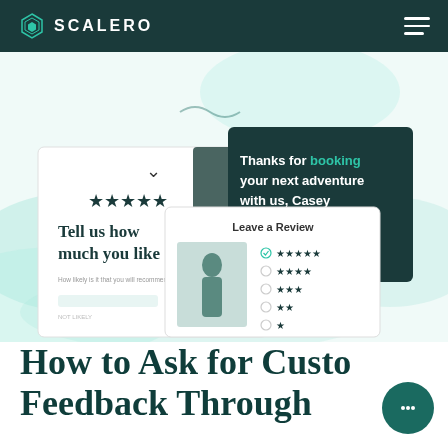SCALERO
[Figure (screenshot): Hero image showing three overlapping UI cards/screens depicting customer feedback and review interfaces on a teal/mint abstract background. Left card shows star rating with text 'Tell us how much you like'. Center card shows 'Leave a Review' with star rating options. Right card shows dark teal background with text 'Thanks for booking your next adventure with us, Casey' and star rating.]
How to Ask for Customer Feedback Through